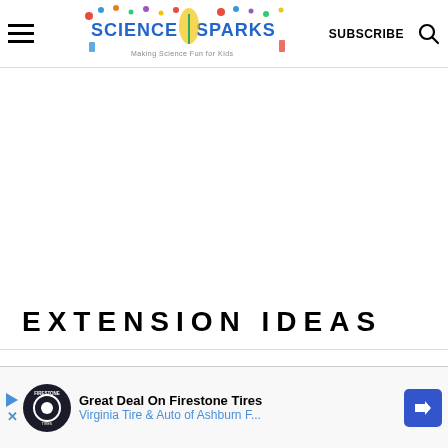Science Sparks — Making Science Fun for Kids
EXTENSION IDEAS
[Figure (other): Advertisement banner: Great Deal On Firestone Tires — Virginia Tire & Auto of Ashburn F...]